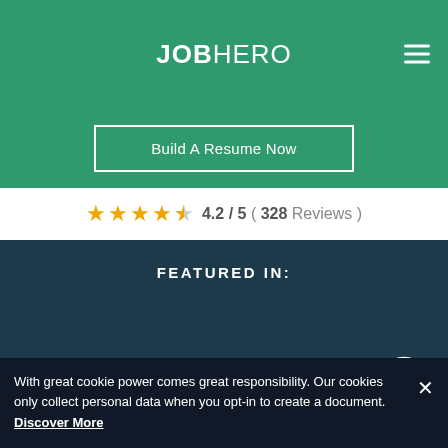JOBHERO
Build A Resume Now
4.2 / 5 ( 328 Reviews )
FEATURED IN:
With great cookie power comes great responsibility. Our cookies only collect personal data when you opt-in to create a document. Discover More